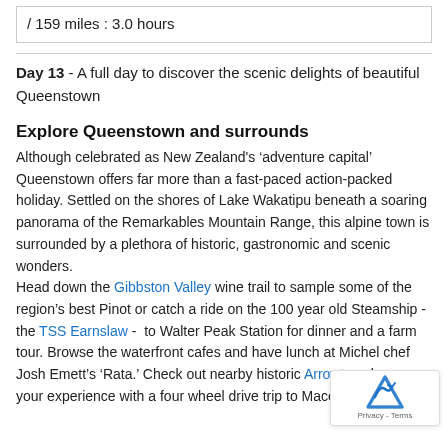/ 159 miles : 3.0 hours
Day 13 - A full day to discover the scenic delights of beautiful Queenstown
Explore Queenstown and surrounds
Although celebrated as New Zealand's ‘adventure capital’ Queenstown offers far more than a fast-paced action-packed holiday. Settled on the shores of Lake Wakatipu beneath a soaring panorama of the Remarkables Mountain Range, this alpine town is surrounded by a plethora of historic, gastronomic and scenic wonders.
Head down the Gibbston Valley wine trail to sample some of the region’s best Pinot or catch a ride on the 100 year old Steamship - the TSS Earnslaw -  to Walter Peak Station for dinner and a farm tour. Browse the waterfront cafes and have lunch at Michel chef Josh Emett’s ‘Rata.’ Check out nearby historic Arrowtc enhance your experience with a four wheel drive trip to Macetown.